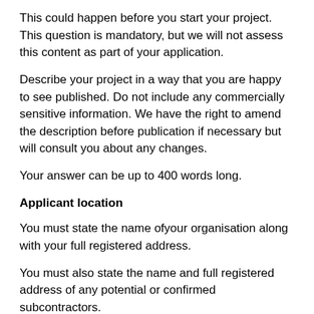This could happen before you start your project. This question is mandatory, but we will not assess this content as part of your application.
Describe your project in a way that you are happy to see published. Do not include any commercially sensitive information. We have the right to amend the description before publication if necessary but will consult you about any changes.
Your answer can be up to 400 words long.
Applicant location
You must state the name of your organisation along with your full registered address.
You must also state the name and full registered address of any potential or confirmed subcontractors.
We are collecting this information to understand the geographical location of all participants of a project.
Your answer can be up to 400 words long.